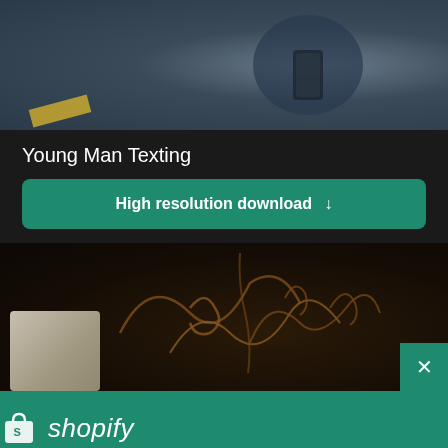[Figure (photo): Photo of a young man holding a phone, with a yellow stripe visible, dark urban background]
Young Man Texting
High resolution download ↓
[Figure (photo): Dark interior photo with decorative wire art on wall, a pillow/cushion visible in lower left]
[Figure (logo): Shopify logo with shopping bag icon and italic shopify text]
Need an online store for your business?
Start free trial